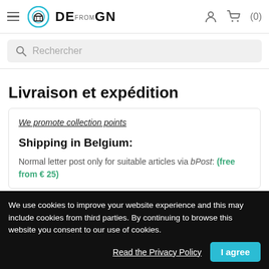DESIGN FROM — navigation header with hamburger menu, logo, user icon, cart (0)
Rechercher
Livraison et expédition
We promote collection points
Shipping in Belgium:
Normal letter post only for suitable articles via bPost: (free from € 25)
We use cookies to improve your website experience and this may include cookies from third parties. By continuing to browse this website you consent to our use of cookies.
Read the Privacy Policy
I agree